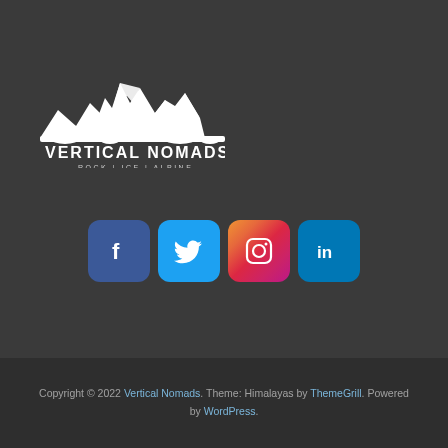[Figure (logo): Vertical Nomads logo with mountain illustration and text 'VERTICAL NOMADS' and 'ROCK | ICE | ALPINE']
[Figure (infographic): Four social media icons: Facebook (blue), Twitter (light blue), Instagram (gradient), LinkedIn (blue)]
Copyright © 2022 Vertical Nomads. Theme: Himalayas by ThemeGrill. Powered by WordPress.